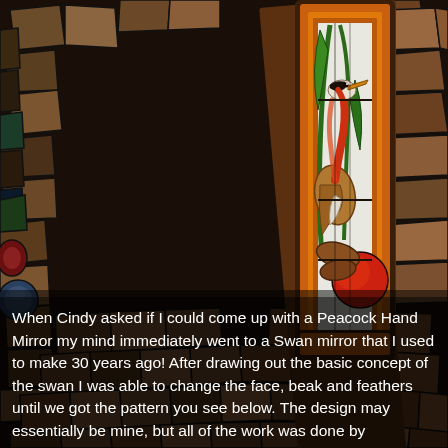[Figure (photo): A stained glass panel featuring a heron bird with orange, brown, green, red and white glass pieces, surrounded by an orange border with brown frame, displayed against a background of colorful stone/mosaic tiles.]
When Cindy asked if I could come up with a Peacock Hand Mirror my mind immediately went to a Swan mirror that I used to make 30 years ago!  After drawing out the basic concept of the swan I was able to change the face, beak and feathers until we got the pattern you see below.  The design may essentially be mine, but all of the work was done by